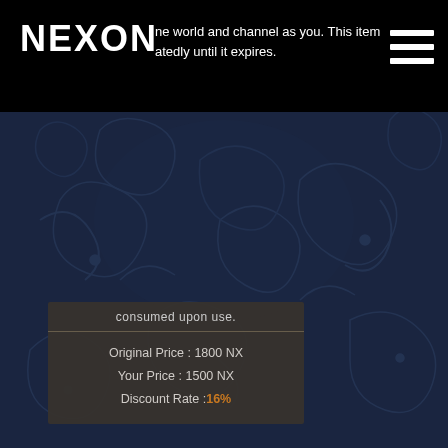NEXON
ne world and channel as you. This item atedly until it expires.
[Figure (screenshot): Dark blue decorative background with dragon/scroll pattern artwork overlay]
consumed upon use.
Original Price : 1800 NX
Your Price : 1500 NX
Discount Rate :16%